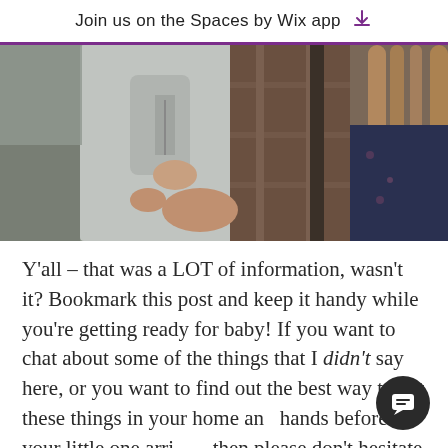Join us on the Spaces by Wix app
[Figure (photo): A woman holding a baby/toddler dressed in a gray hoodie, both outdoors. The adult is wearing a plaid flannel shirt. Only torsos and hands are visible.]
Y'all – that was a LOT of information, wasn't it? Bookmark this post and keep it handy while you're getting ready for baby! If you want to chat about some of the things that I didn't say here, or you want to find out the best way to get these things in your home and hands before your little one arrives, then please don't hesitate to reach